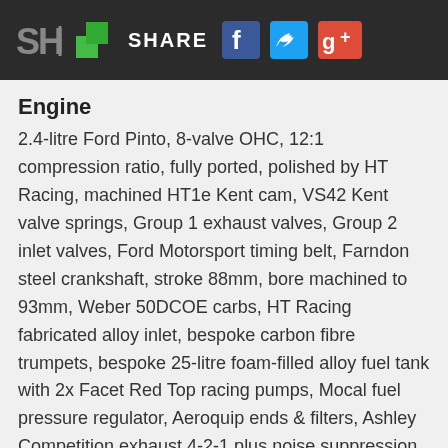SH SHARE
Engine
2.4-litre Ford Pinto, 8-valve OHC, 12:1 compression ratio, fully ported, polished by HT Racing, machined HT1e Kent cam, VS42 Kent valve springs, Group 1 exhaust valves, Group 2 inlet valves, Ford Motorsport timing belt, Farndon steel crankshaft, stroke 88mm, bore machined to 93mm, Weber 50DCOE carbs, HT Racing fabricated alloy inlet, bespoke carbon fibre trumpets, bespoke 25-litre foam-filled alloy fuel tank with 2x Facet Red Top racing pumps, Mocal fuel pressure regulator, Aeroquip ends & filters, Ashley Competition exhaust 4-2-1 plus noise suppression boxes, modified NGK spark